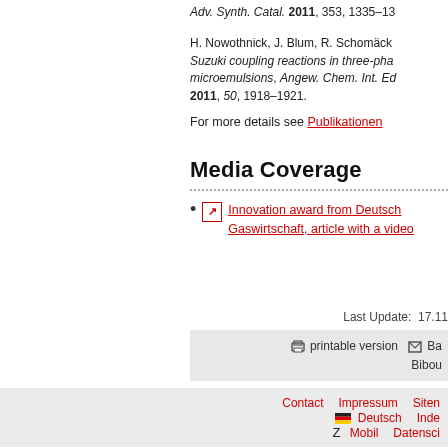Adv. Synth. Catal. 2011, 353, 1335–13
H. Nowothnick, J. Blum, R. Schomäck Suzuki coupling reactions in three-phase microemulsions, Angew. Chem. Int. Ed. 2011, 50, 1918–1921.
For more details see Publikationen
Media Coverage
Innovation award from Deutschen Gaswirtschaft, article with a video
Last Update: 17.11
printable version | Ba | Bibou
Contact  Impressum  Siten  Deutsch  Inde  Z  Mobil  Datenschi